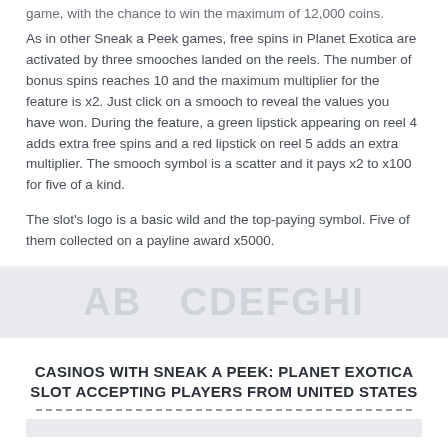game, with the chance to win the maximum of 12,000 coins.
As in other Sneak a Peek games, free spins in Planet Exotica are activated by three smooches landed on the reels. The number of bonus spins reaches 10 and the maximum multiplier for the feature is x2. Just click on a smooch to reveal the values you have won. During the feature, a green lipstick appearing on reel 4 adds extra free spins and a red lipstick on reel 5 adds an extra multiplier. The smooch symbol is a scatter and it pays x2 to x100 for five of a kind.
The slot's logo is a basic wild and the top-paying symbol. Five of them collected on a payline award x5000.
[Figure (other): Gray decorative band with large faded uppercase text watermark]
CASINOS WITH SNEAK A PEEK: PLANET EXOTICA SLOT ACCEPTING PLAYERS FROM UNITED STATES